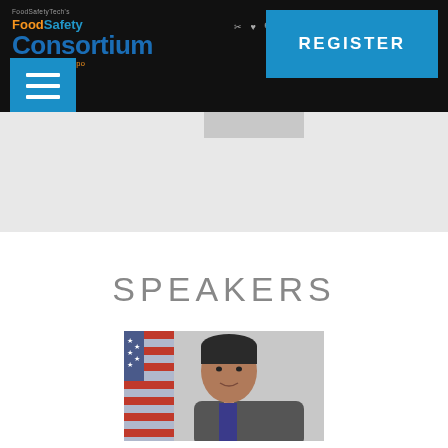FoodSafety Tech's FoodSafety Consortium Conference & Expo
[Figure (logo): FoodSafety Tech FoodSafety Consortium Conference & Expo logo in blue and orange]
[Figure (other): Blue REGISTER button]
[Figure (other): Blue hamburger menu button with three white lines]
SPEAKERS
[Figure (photo): Headshot of a man with dark hair in front of an American flag, grey background]